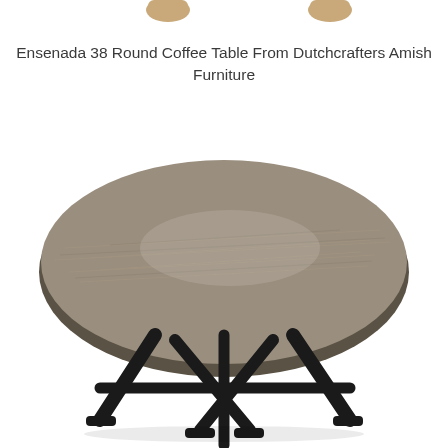[Figure (photo): Photo of a round coffee table with a gray wood-grain top surface and black metal cross-base legs, shown on a white background. Partial view of another furniture item visible at top.]
Ensenada 38 Round Coffee Table From Dutchcrafters Amish Furniture